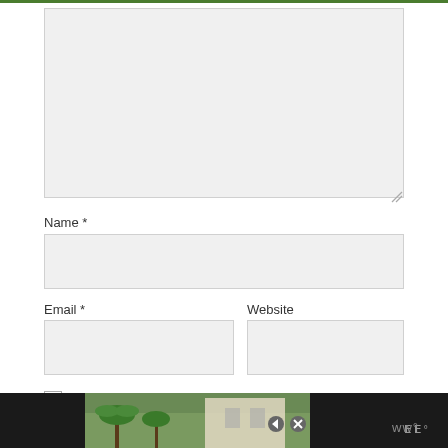[Figure (screenshot): Comment text area input field (empty, light gray background)]
Name *
[Figure (screenshot): Name input field (empty, light gray background)]
Email *
Website
[Figure (screenshot): Email input field (empty, light gray background)]
[Figure (screenshot): Website input field (empty, light gray background)]
Save my name, email, and website in this browser for the next time I comment.
[Figure (screenshot): Submit button (dark/black background with white SUBMIT text)]
[Figure (photo): Advertisement banner at the bottom showing a tropical scene with palm trees and a building, with navigation controls and a brand logo]